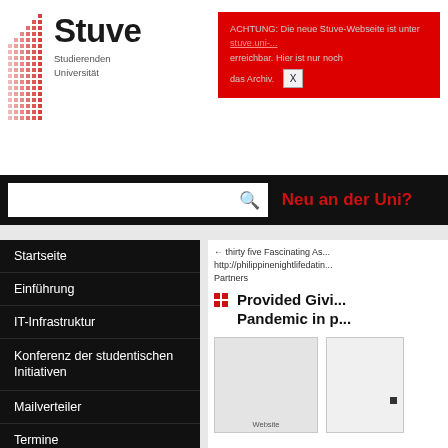[Figure (logo): Stuve logo with dot grid pattern and brand name]
ACHTUNG: Die neue Stuve-Webseite ist unter [link] erreichbar. Hier ist nur noch das Archiv. [X]
Neu an der Uni?
Startseite
Einführung
IT-Infrastruktur
Konferenz der studentischen Initiativen
Mailverteiler
Termine
Studierendenvertretung
Referate & Arbeitskreise
← thirty five Fascinating As... http://philippinenightlifedatin... Partners
Provided Givi... Pandemic in p...
[Figure (photo): Two image thumbnails side by side with Website label]